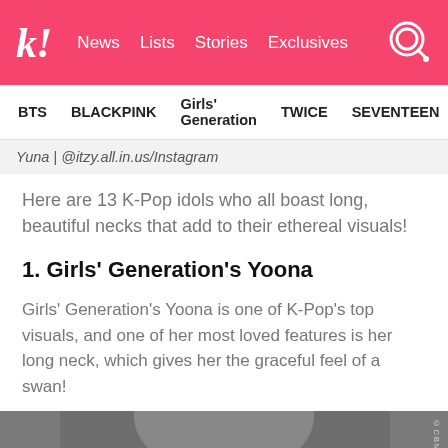k! News Lists Stories Exclusives
BTS BLACKPINK Girls' Generation TWICE SEVENTEEN
Yuna | @itzy.all.in.us/Instagram
Here are 13 K-Pop idols who all boast long, beautiful necks that add to their ethereal visuals!
1. Girls' Generation's Yoona
Girls' Generation's Yoona is one of K-Pop's top visuals, and one of her most loved features is her long neck, which gives her the graceful feel of a swan!
[Figure (photo): Photo of Girls' Generation's Yoona with dark background]